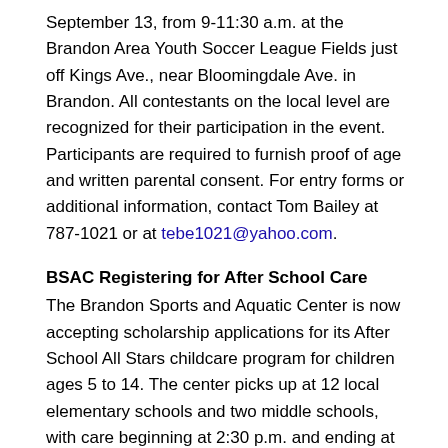September 13, from 9-11:30 a.m. at the Brandon Area Youth Soccer League Fields just off Kings Ave., near Bloomingdale Ave. in Brandon. All contestants on the local level are recognized for their participation in the event. Participants are required to furnish proof of age and written parental consent. For entry forms or additional information, contact Tom Bailey at 787-1021 or at tebe1021@yahoo.com.
BSAC Registering for After School Care
The Brandon Sports and Aquatic Center is now accepting scholarship applications for its After School All Stars childcare program for children ages 5 to 14. The center picks up at 12 local elementary schools and two middle schools, with care beginning at 2:30 p.m. and ending at 6:30 p.m. Qualified applicants will be notified within seven days. Please call Phyllis Skiffington at 689-0908 for more information.